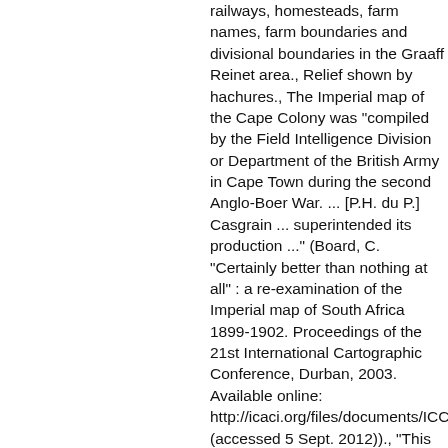railways, homesteads, farm names, farm boundaries and divisional boundaries in the Graaff Reinet area., Relief shown by hachures., The Imperial map of the Cape Colony was "compiled by the Field Intelligence Division or Department of the British Army in Cape Town during the second Anglo-Boer War. ... [P.H. du P.] Casgrain ... superintended its production ..." (Board, C. "Certainly better than nothing at all" : a re-examination of the Imperial map of South Africa 1899-1902. Proceedings of the 21st International Cartographic Conference, Durban, 2003. Available online: http://icaci.org/files/documents/ICC_pro (accessed 5 Sept. 2012))., "This map is not to be considered as absolutely accurate"., Projection not given., Co-ordinates not given.,